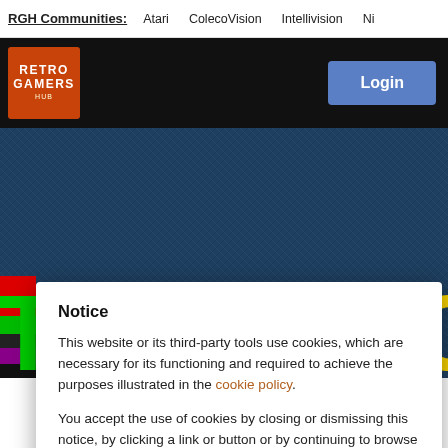RGH Communities: Atari ColecoVision Intellivision Ni
[Figure (screenshot): Retro Gamers Hub website header with logo and Login button on dark background]
[Figure (photo): Hero banner background showing partial text 'RETRO GA' in large yellow letters on denim-textured dark blue background with green T on the left and color blocks]
Notice
This website or its third-party tools use cookies, which are necessary for its functioning and required to achieve the purposes illustrated in the cookie policy.
You accept the use of cookies by closing or dismissing this notice, by clicking a link or button or by continuing to browse otherwise.